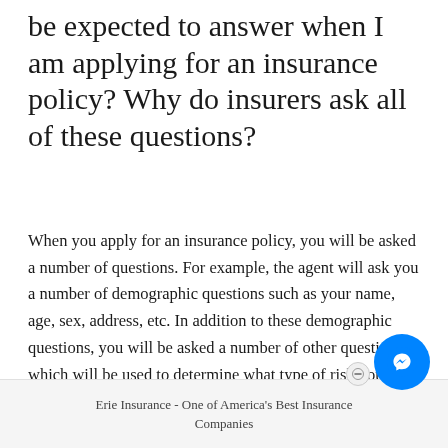be expected to answer when I am applying for an insurance policy? Why do insurers ask all of these questions?
When you apply for an insurance policy, you will be asked a number of questions. For example, the agent will ask you a number of demographic questions such as your name, age, sex, address, etc. In addition to these demographic questions, you will be asked a number of other questions which will be used to determine what type of risk you are. For
Erie Insurance - One of America's Best Insurance Companies